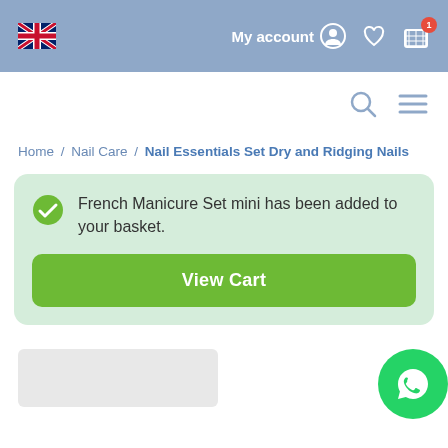My account | Cart (1 item)
Home / Nail Care / Nail Essentials Set Dry and Ridging Nails
French Manicure Set mini has been added to your basket.
View Cart